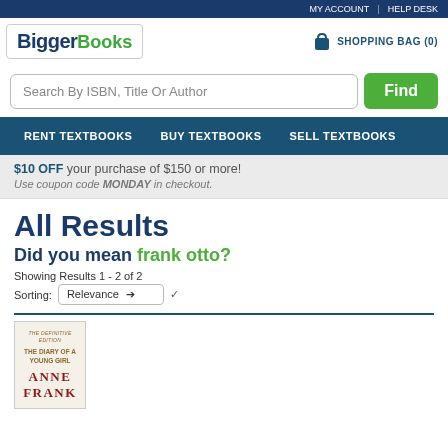MY ACCOUNT | HELP DESK
[Figure (logo): BiggerBooks logo with blue 'Bigger' and green 'Books' text]
SHOPPING BAG (0)
Search By ISBN, Title Or Author
Find
RENT TEXTBOOKS   BUY TEXTBOOKS   SELL TEXTBOOKS
$10 OFF your purchase of $150 or more! Use coupon code MONDAY in checkout.
All Results
Did you mean frank otto?
Showing Results 1 - 2 of 2
Sorting: Relevance
[Figure (photo): Book cover: The Definitive Edition, The Diary of a Young Girl, Anne Frank]